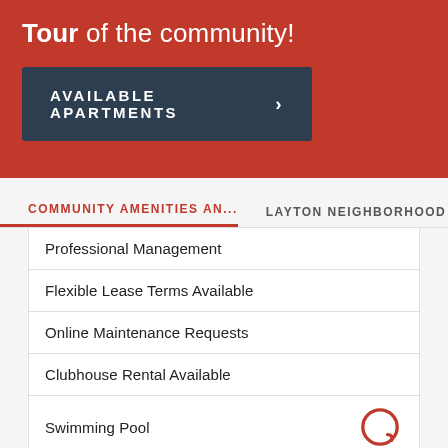Tour of the community!
AVAILABLE APARTMENTS
COMMUNITY AMENITIES AN...
LAYTON NEIGHBORHOOD
Professional Management
Flexible Lease Terms Available
Online Maintenance Requests
Clubhouse Rental Available
Swimming Pool